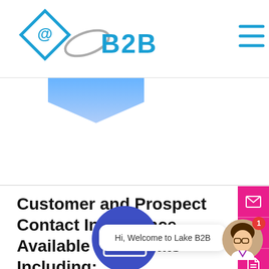@B2B
[Figure (logo): Blue diamond with @ symbol and B2B text logo with gray orbital arc, plus hamburger menu icon]
[Figure (illustration): Blue shield/chevron pointing downward]
Customer and Prospect Contact Intelligence Available in Formats Including:
[Figure (illustration): Pink side contact buttons: email envelope, phone, document icons on right edge]
[Figure (illustration): Blue circle with email icon at bottom, chat bubble saying Hi Welcome to Lake B2B, animated avatar with notification badge 1]